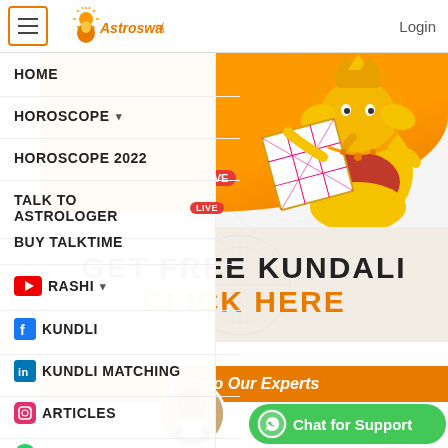Astroswami — Login
HOME
HOROSCOPE ▼
HOROSCOPE 2022
TALK TO ASTROLOGER  LIVE
BUY TALKTIME
RASHI ▼
KUNDLI
KUNDLI MATCHING
ARTICLES
[Figure (illustration): Ganesha cartoon illustration sitting with a kundali chart on an orange banner background]
GET FREE KUNDALI
CLICK HERE
Talk To Our Experts
Chat for Support